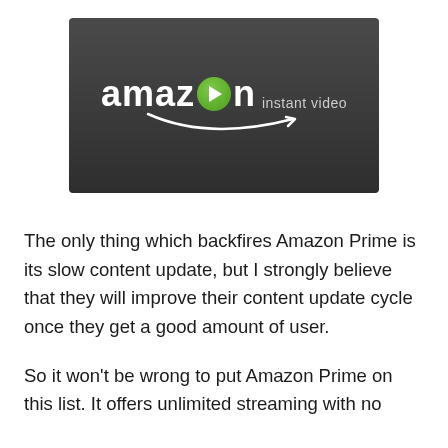[Figure (logo): Amazon Instant Video logo on a dark grey background. The word 'amazon' appears in white bold text with a green play button circle replacing the letter 'o', and 'instant video' in grey text to the right. A white smile/arrow swoosh is below the text.]
The only thing which backfires Amazon Prime is its slow content update, but I strongly believe that they will improve their content update cycle once they get a good amount of user.
So it won't be wrong to put Amazon Prime on this list. It offers unlimited streaming with no